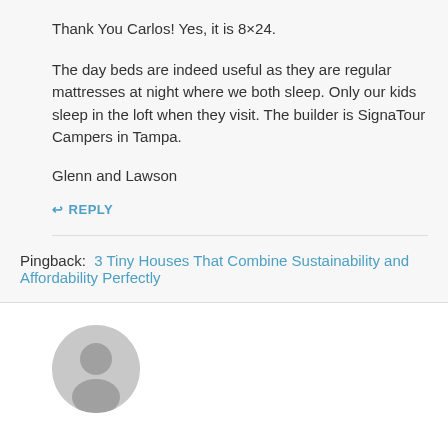Thank You Carlos! Yes, it is 8×24.
The day beds are indeed useful as they are regular mattresses at night where we both sleep. Only our kids sleep in the loft when they visit. The builder is SignaTour Campers in Tampa.
Glenn and Lawson
↩ REPLY
Pingback:  3 Tiny Houses That Combine Sustainability and Affordability Perfectly
[Figure (illustration): Grey circular avatar placeholder icon showing a generic user silhouette]
[][]